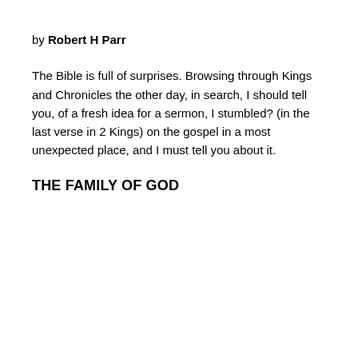by Robert H Parr
The Bible is full of surprises. Browsing through Kings and Chronicles the other day, in search, I should tell you, of a fresh idea for a sermon, I stumbled? (in the last verse in 2 Kings) on the gospel in a most unexpected place, and I must tell you about it.
THE FAMILY OF GOD